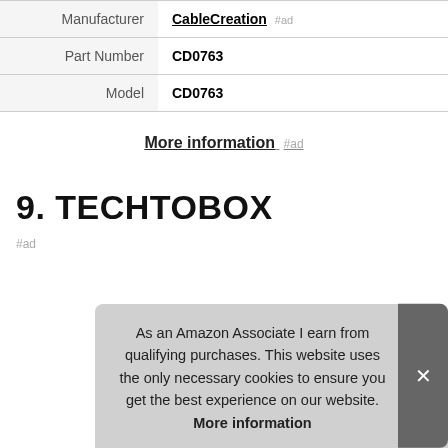|  |  |
| --- | --- |
| Manufacturer | CableCreation #ad |
| Part Number | CD0763 |
| Model | CD0763 |
More information #ad
9. TECHTOBOX
#ad
As an Amazon Associate I earn from qualifying purchases. This website uses the only necessary cookies to ensure you get the best experience on our website. More information